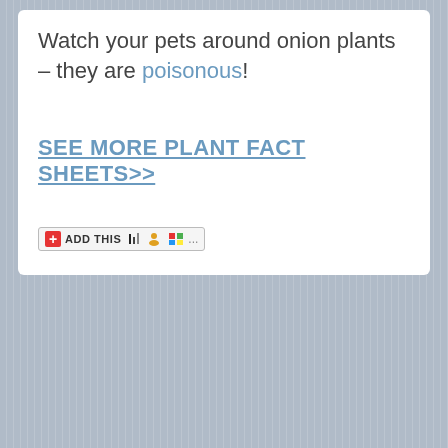Watch your pets around onion plants – they are poisonous!
SEE MORE PLANT FACT SHEETS>>
[Figure (other): AddThis social sharing button widget showing red plus icon, 'ADD THIS' text, and small social media icons including a bar chart icon, person icon, Windows flag icon, and ellipsis]